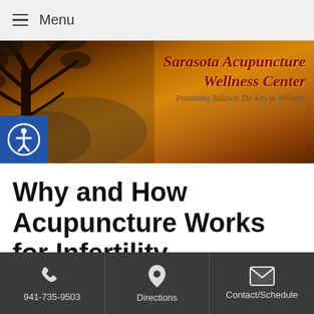Menu
[Figure (screenshot): Sarasota Acupuncture Wellness Center banner with tree silhouette and golden/orange background. Text: 'Sarasota Acupuncture Wellness Center' and 'Promoting Balance The Key to Wellness']
Why and How Acupuncture Works for Infertility
[Figure (illustration): Decorative section header with horizontal line, text 'ACUPUNCTURE & INFERTILITY' in small-caps serif font, alongside a photo of a pregnant woman's belly]
941-735-9503   Directions   Contact/Schedule